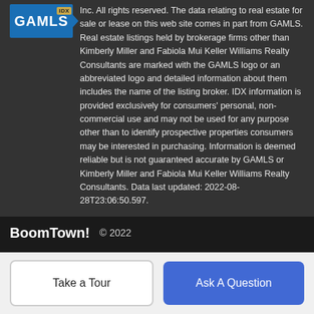[Figure (logo): GAMLS IDX logo — blue rectangle with GAMLS text, IDX badge, and arrow]
Inc. All rights reserved. The data relating to real estate for sale or lease on this web site comes in part from GAMLS. Real estate listings held by brokerage firms other than Kimberly Miller and Fabiola Mui Keller Williams Realty Consultants are marked with the GAMLS logo or an abbreviated logo and detailed information about them includes the name of the listing broker. IDX information is provided exclusively for consumers' personal, non-commercial use and may not be used for any purpose other than to identify prospective properties consumers may be interested in purchasing. Information is deemed reliable but is not guaranteed accurate by GAMLS or Kimberly Miller and Fabiola Mui Keller Williams Realty Consultants. Data last updated: 2022-08-28T23:06:50.597.
[Figure (logo): BoomTown! logo in white bold text]
© 2022
Terms of Use | Privacy Policy | Accessibility | DMCA | Listings Sitemap
Take a Tour
Ask A Question